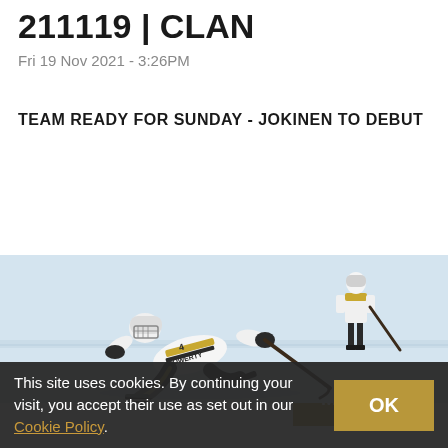211119 | CLAN
Fri 19 Nov 2021 - 3:26PM
TEAM READY FOR SUNDAY - JOKINEN TO DEBUT
READ MORE
[Figure (photo): Ice hockey player in white and gold uniform sliding on ice during a game, holding a stick, with another player visible in background]
This site uses cookies. By continuing your visit, you accept their use as set out in our Cookie Policy.
211119 | SATURDAY